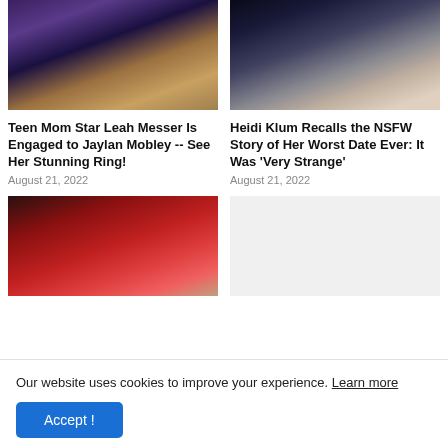[Figure (photo): Photo of Teen Mom Star Leah Messer and Jaylan Mobley together at night]
[Figure (photo): Photo of Heidi Klum smiling during a TV appearance]
Teen Mom Star Leah Messer Is Engaged to Jaylan Mobley -- See Her Stunning Ring!
August 21, 2022
Heidi Klum Recalls the NSFW Story of Her Worst Date Ever: It Was 'Very Strange'
August 21, 2022
[Figure (photo): Photo of a woman in a red outfit with a cross necklace]
Our website uses cookies to improve your experience. Learn more
Accept !